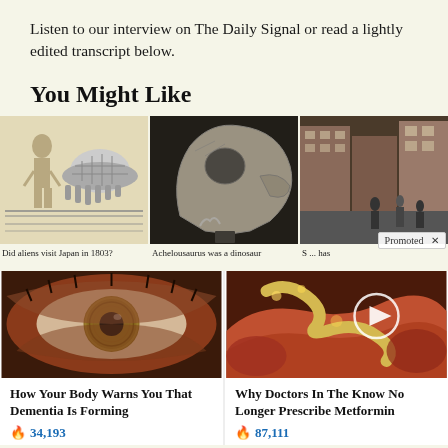Listen to our interview on The Daily Signal or read a lightly edited transcript below.
You Might Like
[Figure (photo): Three thumbnail images in a row: (1) pen drawing of alien encounter Japan 1803, (2) fossil skull of Achelousaurus dinosaur, (3) street scene photo. A 'Promoted X' badge overlays the third image.]
Did aliens visit Japan in 1803?   Achelousaurus was a dinosaur   S ... has
[Figure (photo): Close-up macro photo of a human eye with amber/brown iris]
[Figure (photo): Close-up medical/biological image with a circular play button overlay]
How Your Body Warns You That Dementia Is Forming
🔥 34,193
Why Doctors In The Know No Longer Prescribe Metformin
🔥 87,111